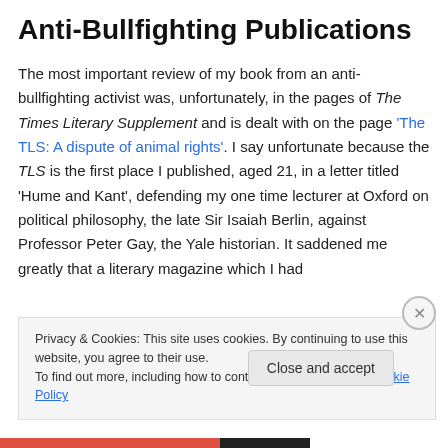Anti-Bullfighting Publications
The most important review of my book from an anti-bullfighting activist was, unfortunately, in the pages of The Times Literary Supplement and is dealt with on the page 'The TLS: A dispute of animal rights'. I say unfortunate because the TLS is the first place I published, aged 21, in a letter titled 'Hume and Kant', defending my one time lecturer at Oxford on political philosophy, the late Sir Isaiah Berlin, against Professor Peter Gay, the Yale historian. It saddened me greatly that a literary magazine which I had
Privacy & Cookies: This site uses cookies. By continuing to use this website, you agree to their use.
To find out more, including how to control cookies, see here: Cookie Policy